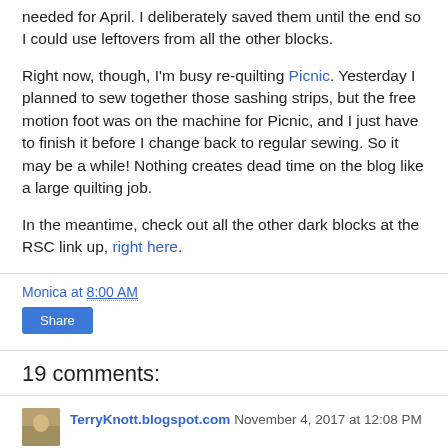needed for April. I deliberately saved them until the end so I could use leftovers from all the other blocks.
Right now, though, I'm busy re-quilting Picnic. Yesterday I planned to sew together those sashing strips, but the free motion foot was on the machine for Picnic, and I just have to finish it before I change back to regular sewing. So it may be a while! Nothing creates dead time on the blog like a large quilting job.
In the meantime, check out all the other dark blocks at the RSC link up, right here.
Monica at 8:00 AM
Share
19 comments:
TerryKnott.blogspot.com November 4, 2017 at 12:08 PM